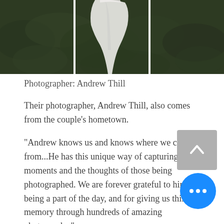[Figure (photo): Top portion of a wedding photo showing a bride in a white dress standing on green foliage/grass, partially cropped at the top.]
Photographer: Andrew Thill
Their photographer, Andrew Thill, also comes from the couple's hometown.
"Andrew knows us and knows where we come from...He has this unique way of capturing moments and the thoughts of those being photographed. We are forever grateful to him for being a part of the day, and for giving us this memory through hundreds of amazing photographs."
Despite the unexpected rainy weather,